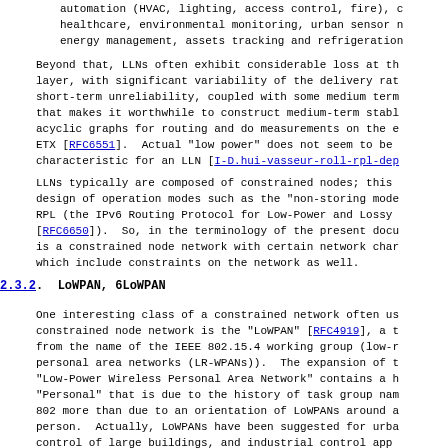automation (HVAC, lighting, access control, fire), c healthcare, environmental monitoring, urban sensor n energy management, assets tracking and refrigeration
Beyond that, LLNs often exhibit considerable loss at th layer, with significant variability of the delivery rat short-term unreliability, coupled with some medium term that makes it worthwhile to construct medium-term stabl acyclic graphs for routing and do measurements on the e ETX [RFC6551]. Actual "low power" does not seem to be characteristic for an LLN [I-D.hui-vasseur-roll-rpl-dep
LLNs typically are composed of constrained nodes; this design of operation modes such as the "non-storing mode RPL (the IPv6 Routing Protocol for Low-Power and Lossy [RFC6650]). So, in the terminology of the present docu is a constrained node network with certain network char which include constraints on the network as well.
2.3.2. LoWPAN, 6LoWPAN
One interesting class of a constrained network often us constrained node network is the "LoWPAN" [RFC4919], a t from the name of the IEEE 802.15.4 working group (low-r personal area networks (LR-WPANs)). The expansion of t "Low-Power Wireless Personal Area Network" contains a h "Personal" that is due to the history of task group nam 802 more than due to an orientation of LoWPANs around a person. Actually, LoWPANs have been suggested for urba control of large buildings, and industrial control app